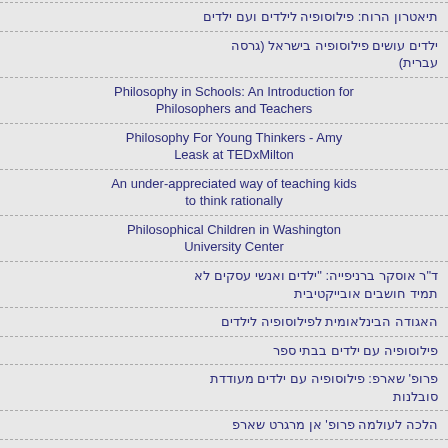תיאטרון הרוח: פילוסופיה לילדים ועם ילדים
ילדים עושים פילוסופיה בישראל (גרסה עברית)
Philosophy in Schools: An Introduction for Philosophers and Teachers
Philosophy For Young Thinkers - Amy Leask at TEDxMilton
An under-appreciated way of teaching kids to think rationally
Philosophical Children in Washington University Center
ד"ר אוסקר ברניפייה: "ילדים ואנשי עסקים לא תמיד חושבים אובייקטיבית
האגודה הבינלאומית לפילוסופיה לילדים
פילוסופיה עם ילדים בבתי ספר
פרופ' שארפ: פילוסופיה עם ילדים מעודדת סובלנות
הלכה לעולמה פרופ' אן מרגרט שארפ
LIBERATION OF THE CHILD'S MIND THROUGH PHILOSOPHY FOR CHILDREN
Children are natural born philosophers
CONTRIBUTION OF THE